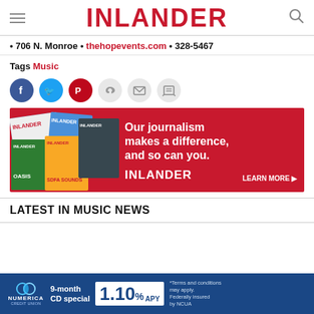INLANDER
• 706 N. Monroe • thehopevents.com • 328-5467
Tags Music
[Figure (infographic): Social sharing buttons: Facebook (blue), Twitter (blue), Pinterest (red), Like (grey heart), Email (grey envelope), Print (grey printer)]
[Figure (infographic): Inlander advertisement banner on red background showing stacked magazine covers on left and text: 'Our journalism makes a difference, and so can you. INLANDER LEARN MORE ▶' on right]
LATEST IN MUSIC NEWS
[Figure (infographic): Numerica Credit Union advertisement: 9-month CD special 1.10% APY. Terms and conditions may apply. Federally insured by NCUA.]